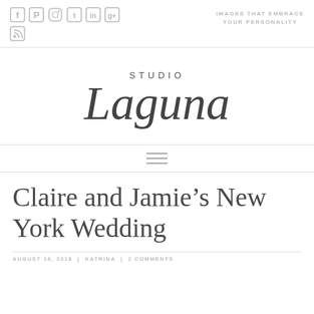IMAGES THAT EMBRACE YOUR PERSONALITY
[Figure (logo): Social media icons: Facebook, Pinterest, Instagram, Twitter, LinkedIn, Google+, RSS feed]
[Figure (logo): Studio Laguna logo in script/serif font]
[Figure (other): Hamburger menu icon (three horizontal lines)]
Claire and Jamie’s New York Wedding
AUGUST 16, 2018 | KATRINA | 2 COMMENTS